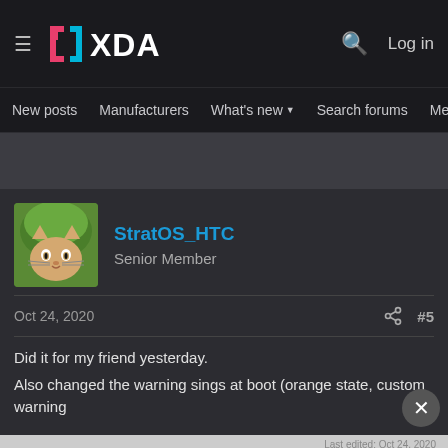XDA Developers — New posts | Manufacturers | What's new | Search forums | Members
[Figure (screenshot): XDA Developers forum page showing a forum post by user StratOS_HTC (Senior Member) dated Oct 24, 2020, post #5. Post text: 'Did it for my friend yesterday. Also changed the warning sings at boot (orange state, custom warning'. A Disney Bundle advertisement banner is visible at the bottom.]
Did it for my friend yesterday.
Also changed the warning sings at boot (orange state, custom warning
Oct 24, 2020
#5